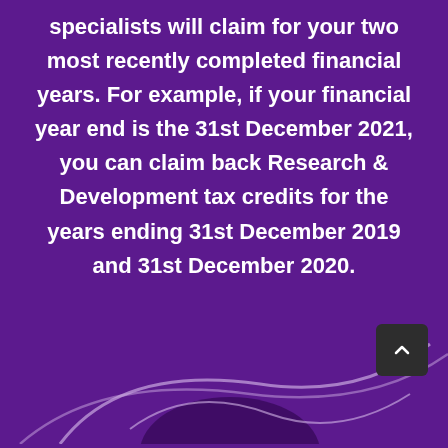specialists will claim for your two most recently completed financial years. For example, if your financial year end is the 31st December 2021, you can claim back Research & Development tax credits for the years ending 31st December 2019 and 31st December 2020.
[Figure (illustration): Decorative curved line illustration at the bottom of the page, light purple/white swirl on dark purple background, partially visible.]